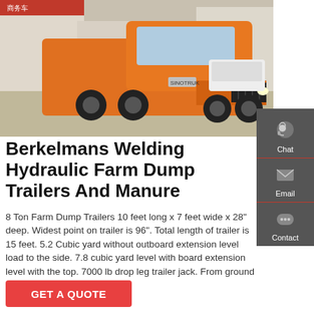[Figure (photo): Orange heavy-duty truck/tractor at a dealership lot with buildings in background]
Berkelmans Welding Hydraulic Farm Dump Trailers And Manure
8 Ton Farm Dump Trailers 10 feet long x 7 feet wide x 28" deep. Widest point on trailer is 96". Total length of trailer is 15 feet. 5.2 Cubic yard without outboard extension level load to the side. 7.8 cubic yard level with board extension level with the top. 7000 lb drop leg trailer jack. From ground to top of rail 78"
GET A QUOTE